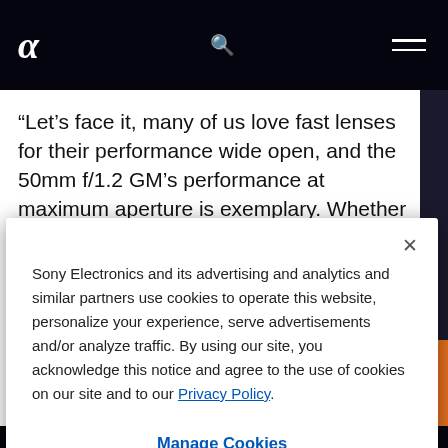[Figure (screenshot): Sony Alpha website navigation bar with logo, search icon, and hamburger menu on dark background]
“Let’s face it, many of us love fast lenses for their performance wide open, and the 50mm f/1.2 GM’s performance at maximum aperture is exemplary. Whether
Sony Electronics and its advertising and analytics and similar partners use cookies to operate this website, personalize your experience, serve advertisements and/or analyze traffic. By using our site, you acknowledge this notice and agree to the use of cookies on our site and to our Privacy Policy.
Manage Cookies